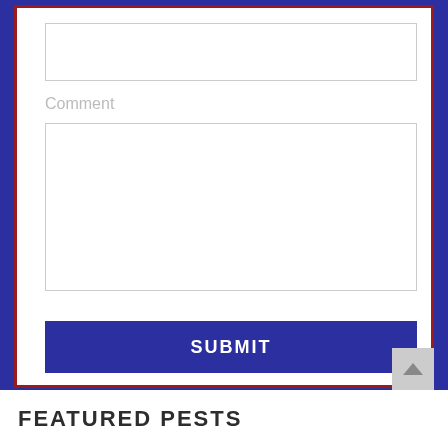[Figure (screenshot): Web form with a text input box at top, a Comment label with a larger textarea below it, and a SUBMIT button. The form is enclosed in a red border inside a navy blue outer border.]
Comment
SUBMIT
FEATURED PESTS